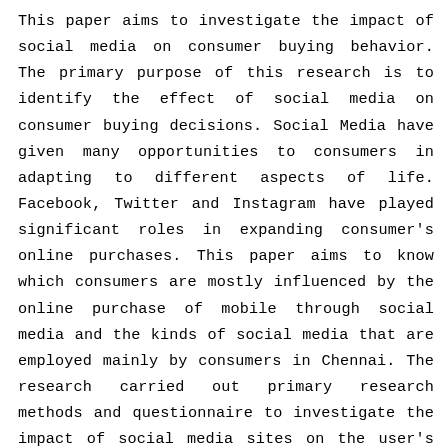This paper aims to investigate the impact of social media on consumer buying behavior. The primary purpose of this research is to identify the effect of social media on consumer buying decisions. Social Media have given many opportunities to consumers in adapting to different aspects of life. Facebook, Twitter and Instagram have played significant roles in expanding consumer's online purchases. This paper aims to know which consumers are mostly influenced by the online purchase of mobile through social media and the kinds of social media that are employed mainly by consumers in Chennai. The research carried out primary research methods and questionnaire to investigate the impact of social media sites on the user's changing behavior who aim to purchase online. The target of the research is to elucidate why, when, and the way social media has impacted on the consumer decision process. The theoretical framework rests on the literature of the consumer decision-making process, social media, and previous studies relating to social media marketing. The quantitative research method is tailored to the aim of this